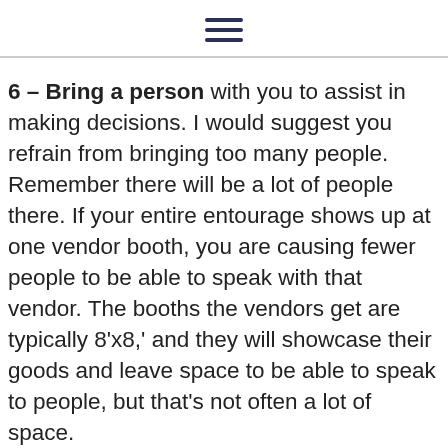≡
6 – Bring a person with you to assist in making decisions. I would suggest you refrain from bringing too many people. Remember there will be a lot of people there. If your entire entourage shows up at one vendor booth, you are causing fewer people to be able to speak with that vendor. The booths the vendors get are typically 8'x8,' and they will showcase their goods and leave space to be able to speak to people, but that's not often a lot of space.
7 – Create an easy decision code. There's going so much information received that it is going to be hard